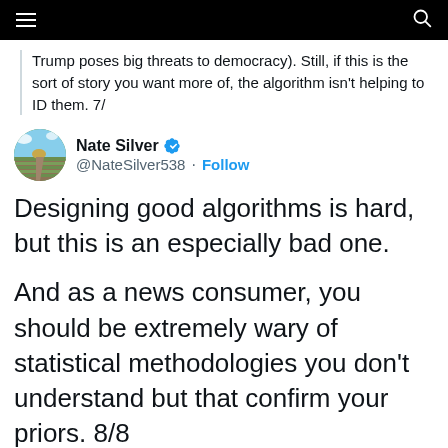Navigation bar with hamburger menu and search icon
Trump poses big threats to democracy). Still, if this is the sort of story you want more of, the algorithm isn't helping to ID them. 7/
Nate Silver @NateSilver538 · Follow
Designing good algorithms is hard, but this is an especially bad one.

And as a news consumer, you should be extremely wary of statistical methodologies you don't understand but that confirm your priors. 8/8
2:01 PM · Dec 6, 2021
♥ 383   Reply   Copy link
Read 22 replies